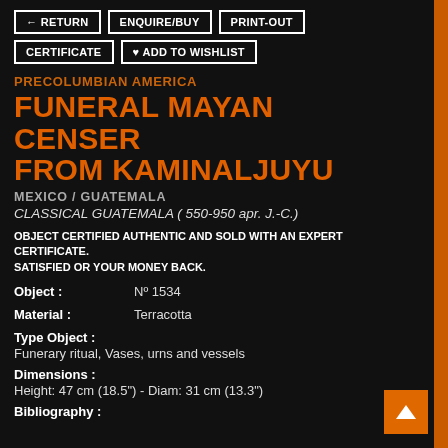← RETURN | ENQUIRE/BUY | PRINT-OUT | CERTIFICATE | ♥ ADD TO WISHLIST
PRECOLUMBIAN AMERICA
FUNERAL MAYAN CENSER FROM KAMINALJUYU
MEXICO / GUATEMALA
CLASSICAL GUATEMALA ( 550-950 apr. J.-C.)
OBJECT CERTIFIED AUTHENTIC AND SOLD WITH AN EXPERT CERTIFICATE. SATISFIED OR YOUR MONEY BACK.
Object : Nº 1534
Material : Terracotta
Type Object : Funerary ritual, Vases, urns and vessels
Dimensions : Height: 47 cm (18.5") - Diam: 31 cm (13.3")
Bibliography :